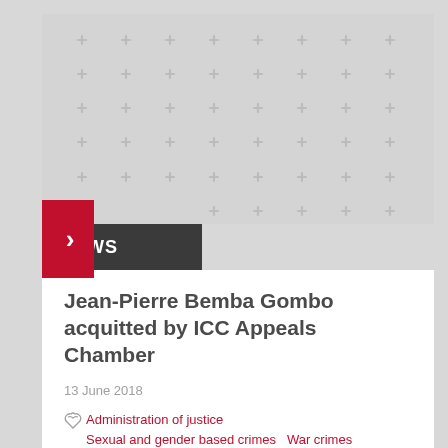[Figure (illustration): Gray banner with repeating white plus/cross pattern background and a red arrow tab on the left side]
NEWS
Jean-Pierre Bemba Gombo acquitted by ICC Appeals Chamber
13 June 2018
Administration of justice   Sexual and gender based crimes   War crimes   Crimes against humanity   Acquitted
Africa
Central African Republic (I and II), Democratic Republic of Congo